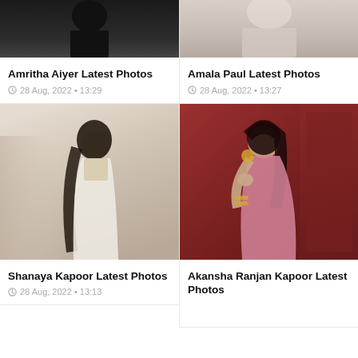[Figure (photo): Amritha Aiyer in black outfit, top portion cropped]
Amritha Aiyer Latest Photos
28 Aug, 2022 • 13:29
[Figure (photo): Amala Paul in white outfit, top portion cropped]
Amala Paul Latest Photos
28 Aug, 2022 • 13:27
[Figure (photo): Shanaya Kapoor in white saree, smiling with long wavy hair]
Shanaya Kapoor Latest Photos
28 Aug, 2022 • 13:13
[Figure (photo): Akansha Ranjan Kapoor in pink embellished outfit against red wall]
Akansha Ranjan Kapoor Latest Photos